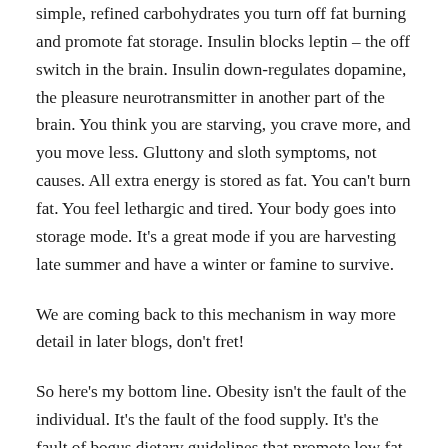simple, refined carbohydrates you turn off fat burning and promote fat storage. Insulin blocks leptin – the off switch in the brain. Insulin down-regulates dopamine, the pleasure neurotransmitter in another part of the brain. You think you are starving, you crave more, and you move less. Gluttony and sloth symptoms, not causes. All extra energy is stored as fat. You can't burn fat. You feel lethargic and tired. Your body goes into storage mode. It's a great mode if you are harvesting late summer and have a winter or famine to survive.
We are coming back to this mechanism in way more detail in later blogs, don't fret!
So here's my bottom line. Obesity isn't the fault of the individual. It's the fault of the food supply. It's the fault of bogus dietary guidelines that promote low fat, high carb